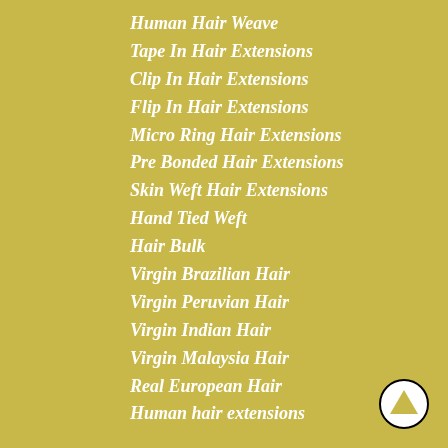Human Hair Weave
Tape In Hair Extensions
Clip In Hair Extensions
Flip In Hair Extensions
Micro Ring Hair Extensions
Pre Bonded Hair Extensions
Skin Weft Hair Extensions
Hand Tied Weft
Hair Bulk
Virgin Brazilian Hair
Virgin Peruvian Hair
Virgin Indian Hair
Virgin Malaysia Hair
Real European Hair
Human hair extensions
[Figure (illustration): A circular up-arrow button icon with black border and gold/tan arrow on white background, positioned at the bottom right corner.]